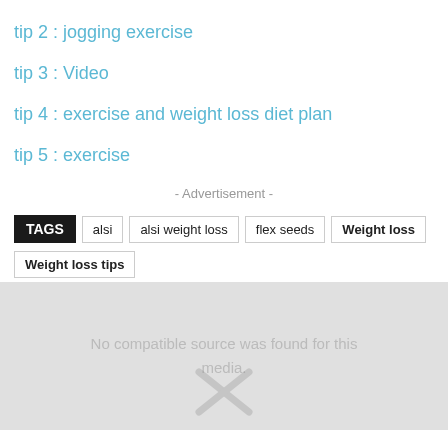tip 2 :  jogging exercise
tip 3 :  Video
tip 4 : exercise and weight loss diet plan
tip 5 : exercise
- Advertisement -
TAGS  alsi  alsi weight loss  flex seeds  Weight loss  Weight loss tips
[Figure (screenshot): Video player placeholder showing 'No compatible source was found for this media.' with a large X icon on grey background]